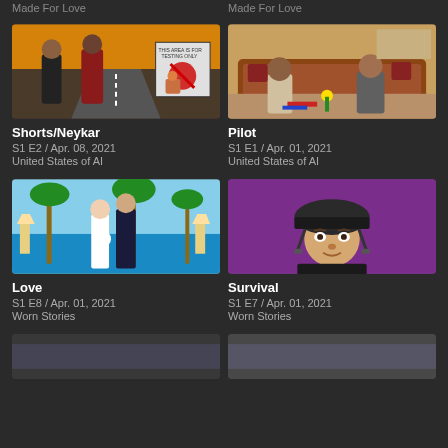Made For Love
Made For Love
[Figure (photo): Two people at a counter with signs in background, one in plaid shirt]
[Figure (photo): Two men sitting on floor of living room with couch behind them]
Shorts/Neykar
S1 E2 / Apr. 08, 2021
United States of AI
Pilot
S1 E1 / Apr. 01, 2021
United States of AI
[Figure (photo): Couple in wedding attire in front of tropical backdrop with palm trees]
[Figure (photo): Man in firefighter helmet against purple background]
Love
S1 E8 / Apr. 01, 2021
Worn Stories
Survival
S1 E7 / Apr. 01, 2021
Worn Stories
[Figure (photo): Bottom left thumbnail]
[Figure (photo): Bottom right thumbnail]